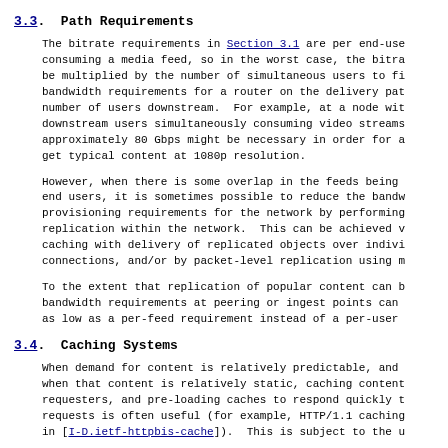3.3. Path Requirements
The bitrate requirements in Section 3.1 are per end-user consuming a media feed, so in the worst case, the bitrate must be multiplied by the number of simultaneous users to find the bandwidth requirements for a router on the delivery path with a number of users downstream. For example, at a node with 10,000 downstream users simultaneously consuming video streams, approximately 80 Gbps might be necessary in order for all users to get typical content at 1080p resolution.
However, when there is some overlap in the feeds being consumed by end users, it is sometimes possible to reduce the bandwidth provisioning requirements for the network by performing replication within the network. This can be achieved with caching with delivery of replicated objects over individual connections, and/or by packet-level replication using multicast.
To the extent that replication of popular content can be done, bandwidth requirements at peering or ingest points can be reduced as low as a per-feed requirement instead of a per-user requirement.
3.4. Caching Systems
When demand for content is relatively predictable, and when that content is relatively static, caching content near requesters, and pre-loading caches to respond quickly to requests is often useful (for example, HTTP/1.1 caching described in [I-D.ietf-httpbis-cache]). This is subject to the usual trade-offs between storage and bandwidth costs.